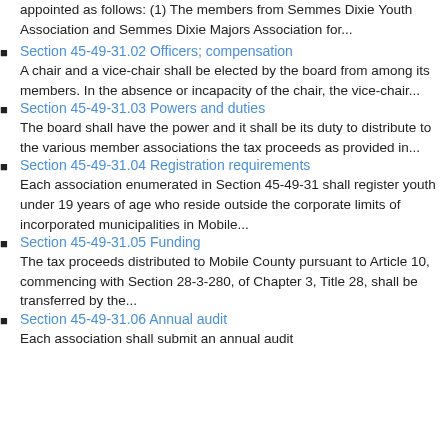appointed as follows: (1) The members from Semmes Dixie Youth Association and Semmes Dixie Majors Association for...
Section 45-49-31.02 Officers; compensation
A chair and a vice-chair shall be elected by the board from among its members. In the absence or incapacity of the chair, the vice-chair...
Section 45-49-31.03 Powers and duties
The board shall have the power and it shall be its duty to distribute to the various member associations the tax proceeds as provided in...
Section 45-49-31.04 Registration requirements
Each association enumerated in Section 45-49-31 shall register youth under 19 years of age who reside outside the corporate limits of incorporated municipalities in Mobile...
Section 45-49-31.05 Funding
The tax proceeds distributed to Mobile County pursuant to Article 10, commencing with Section 28-3-280, of Chapter 3, Title 28, shall be transferred by the...
Section 45-49-31.06 Annual audit
Each association shall submit an annual audit